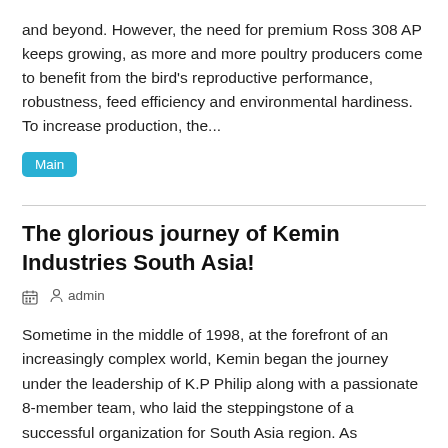and beyond. However, the need for premium Ross 308 AP keeps growing, as more and more poultry producers come to benefit from the bird's reproductive performance, robustness, feed efficiency and environmental hardiness. To increase production, the...
Main
The glorious journey of Kemin Industries South Asia!
admin
Sometime in the middle of 1998, at the forefront of an increasingly complex world, Kemin began the journey under the leadership of K.P Philip along with a passionate 8-member team, who laid the steppingstone of a successful organization for South Asia region. As technology progressed, team Kemin